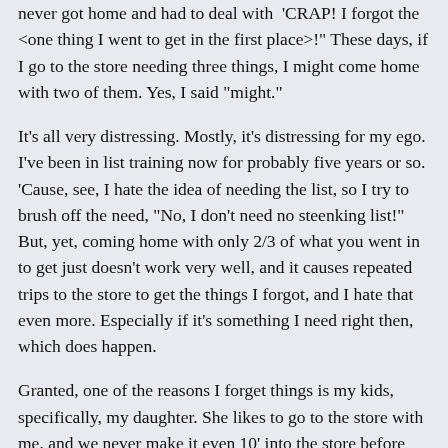never got home and had to deal with  'CRAP! I forgot the <one thing I went to get in the first place>!' These days, if I go to the store needing three things, I might come home with two of them. Yes, I said "might."
It's all very distressing. Mostly, it's distressing for my ego. I've been in list training now for probably five years or so. 'Cause, see, I hate the idea of needing the list, so I try to brush off the need, "No, I don't need no steenking list!" But, yet, coming home with only 2/3 of what you went in to get just doesn't work very well, and it causes repeated trips to the store to get the things I forgot, and I hate that even more. Especially if it's something I need right then, which does happen.
Granted, one of the reasons I forget things is my kids, specifically, my daughter. She likes to go to the store with me, and we never make it even 10' into the store before she's asking for things, and, pretty soon, the flood of items she's inserting into my mental landscape has completely blotted out the actual mental list that was there. Which is why I need a paper list. Besides, she likes the paper list. She gets to hold it, and she likes to go get things while I'm, say, picking through the apples trying to find ones that aren't